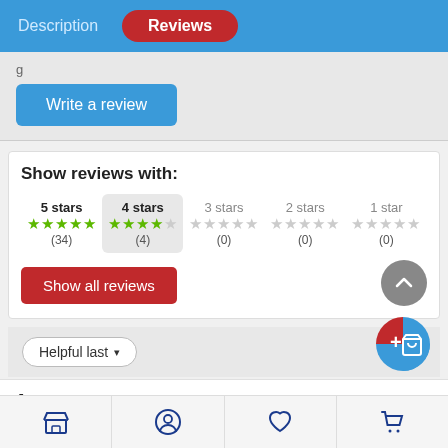Description | Reviews
Write a review
Show reviews with:
| 5 stars | 4 stars | 3 stars | 2 stars | 1 star |
| --- | --- | --- | --- | --- |
| ★★★★★ | ★★★★☆ | ★★☆☆☆ | ★★☆☆☆ | ★☆☆☆☆ |
| (34) | (4) | (0) | (0) | (0) |
Show all reviews
Helpful last ▾
Anonymous
02/06/2021  09:27 AM